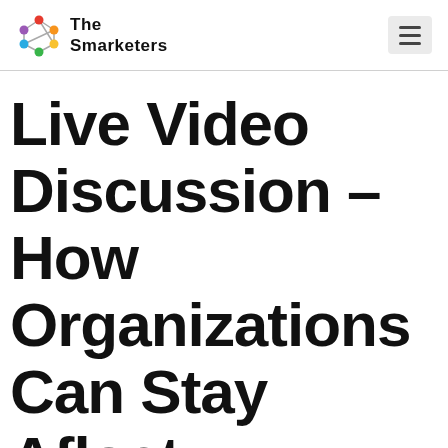The Smarketers
Live Video Discussion – How Organizations Can Stay Afloat And Drive New